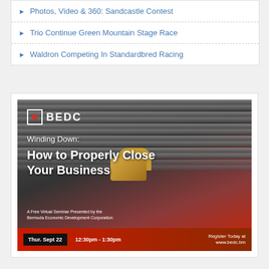Photos, Video & 360: Sandcastle Contest
Trio Continue Green Mountain Stage Race
Waldron Competing In Standardbred Racing
[Figure (infographic): BEDC advertisement: Winding Down: How to Properly Close Your Business. A Free Virtual Seminar Presented by the Bermuda Economic Development Corporation. Thur. Sept 22, 12:30pm - 1:30pm. Register Today at www.bedc.bm]